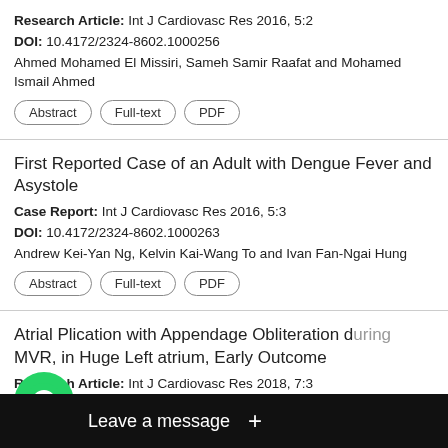Research Article: Int J Cardiovasc Res 2016, 5:2
DOI: 10.4172/2324-8602.1000256
Ahmed Mohamed El Missiri, Sameh Samir Raafat and Mohamed Ismail Ahmed
Abstract | Full-text | PDF
First Reported Case of an Adult with Dengue Fever and Asystole
Case Report: Int J Cardiovasc Res 2016, 5:3
DOI: 10.4172/2324-8602.1000263
Andrew Kei-Yan Ng, Kelvin Kai-Wang To and Ivan Fan-Ngai Hung
Abstract | Full-text | PDF
Atrial Plication with Appendage Obliteration during MVR, in Huge Left atrium, Early Outcome
Research Article: Int J Cardiovasc Res 2018, 7:3
[Figure (screenshot): WhatsApp chat widget overlay with green phone icon and 'Leave a message +' button on dark background]